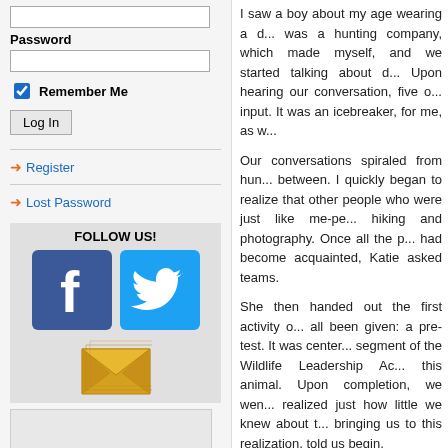[Username input field]
Password
[Password input field]
Remember Me [checkbox]
Log In [button]
Register
Lost Password
FOLLOW US!
[Figure (logo): Facebook logo icon (blue square with white f)]
[Figure (logo): Twitter logo icon (blue square with white bird)]
[Figure (illustration): Email/envelope icon (gold/yellow envelope illustration)]
I saw a boy about my age wearing a d... was a hunting company, which made myself, and we started talking about d... Upon hearing our conversation, five o... input. It was an icebreaker, for me, as w...
Our conversations spiraled from hun... between. I quickly began to realize that other people who were just like me-pe... hiking and photography. Once all the p... had become acquainted, Katie asked teams.
She then handed out the first activity o... all been given: a pre-test. It was center... segment of the Wildlife Leadership Ac... this animal. Upon completion, we wen... realized just how little we knew about t... bringing us to this realization, told us begin.
On the first afternoon of the camp, we... Pennsylvania Fish and Boat Commiss... fishing teacher and fly fishing club m...